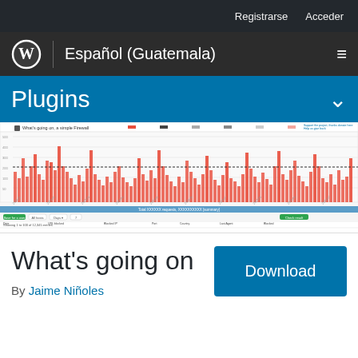Registrarse   Acceder
Español (Guatemala)
Plugins
[Figure (screenshot): Screenshot of 'What's going on, a simple Firewall' plugin interface showing a bar chart with red and grey bars representing firewall data over time, with filter controls and a data table below.]
What's going on
By Jaime Niñoles